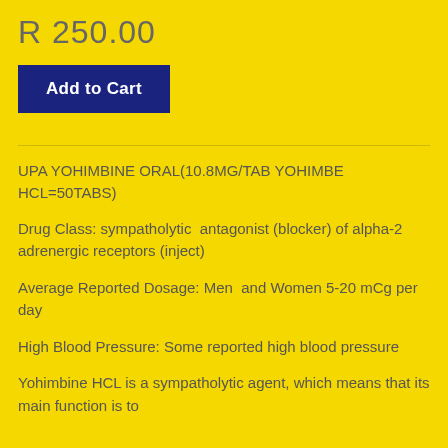R 250.00
Add to Cart
UPA YOHIMBINE ORAL(10.8MG/TAB YOHIMBE HCL=50TABS)
Drug Class: sympatholytic  antagonist (blocker) of alpha-2 adrenergic receptors (inject)
Average Reported Dosage: Men  and Women 5-20 mCg per day
High Blood Pressure: Some reported high blood pressure
Yohimbine HCL is a sympatholytic agent, which means that its main function is to